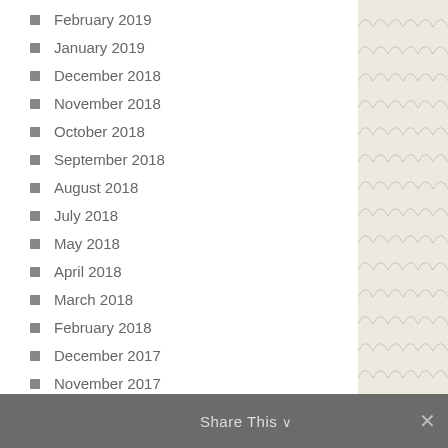February 2019
January 2019
December 2018
November 2018
October 2018
September 2018
August 2018
July 2018
May 2018
April 2018
March 2018
February 2018
December 2017
November 2017
October 2017
September 2017
August 2017
Share This ∨  ✕